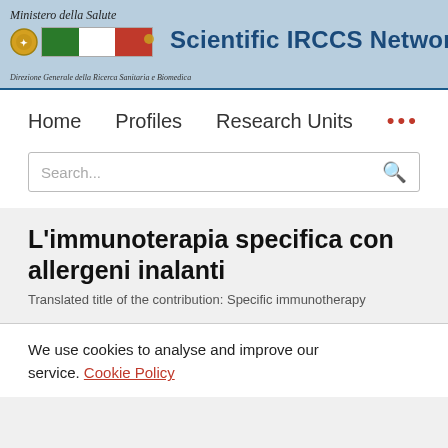Ministero della Salute — Scientific IRCCS Network — Direzione Generale della Ricerca Sanitaria e Biomedica
Home   Profiles   Research Units   •••
Search...
L'immunoterapia specifica con allergeni inalanti
Translated title of the contribution: Specific immunotherapy
We use cookies to analyse and improve our service. Cookie Policy